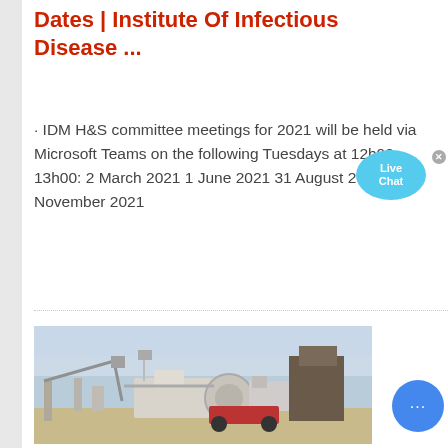Dates | Institute Of Infectious Disease ...
· IDM H&S committee meetings for 2021 will be held via Microsoft Teams on the following Tuesdays at 12h00-13h00: 2 March 2021 1 June 2021 31 August 2021 30 November 2021
[Figure (photo): Industrial machinery / quarry equipment at an outdoor site with pale blue sky in background]